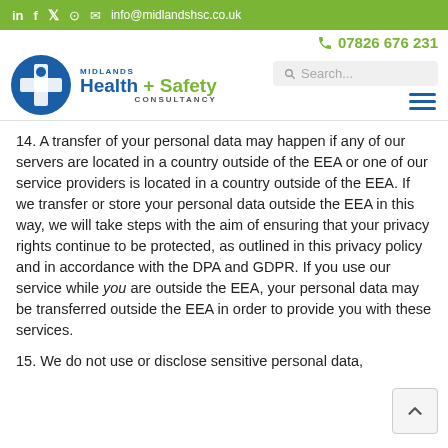in f twitter instagram info@midlandshsc.co.uk
[Figure (logo): Midlands Health + Safety Consultancy logo with blue circle and white cross/person icon, phone number 07826 676 231, and search box]
14. A transfer of your personal data may happen if any of our servers are located in a country outside of the EEA or one of our service providers is located in a country outside of the EEA. If we transfer or store your personal data outside the EEA in this way, we will take steps with the aim of ensuring that your privacy rights continue to be protected, as outlined in this privacy policy and in accordance with the DPA and GDPR. If you use our service while you are outside the EEA, your personal data may be transferred outside the EEA in order to provide you with these services.
15. We do not use or disclose sensitive personal data,